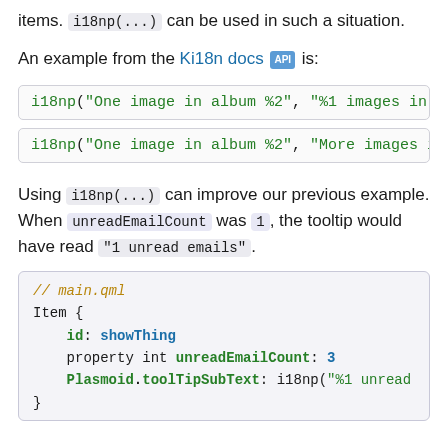items. i18np(...) can be used in such a situation.
An example from the Ki18n docs [API] is:
i18np("One image in album %2", "%1 images in a...
i18np("One image in album %2", "More images in...
Using i18np(...) can improve our previous example. When unreadEmailCount was 1, the tooltip would have read "1 unread emails".
// main.qml
Item {
    id: showThing
    property int unreadEmailCount: 3
    Plasmoid.toolTipSubText: i18np("%1 unread